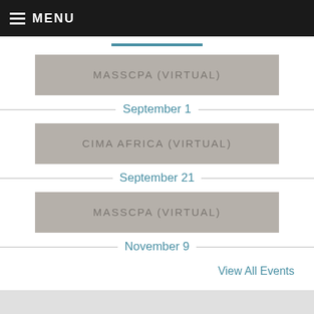MENU
MASSCPA (VIRTUAL)
September 1
CIMA AFRICA (VIRTUAL)
September 21
MASSCPA (VIRTUAL)
November 9
View All Events